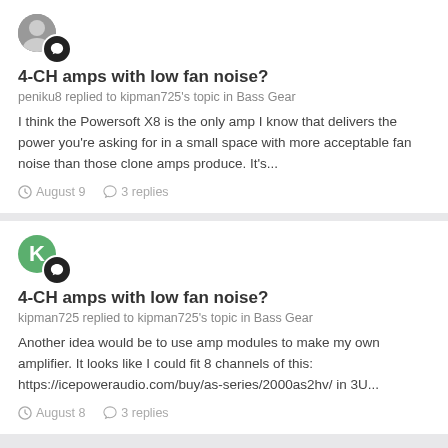[Figure (illustration): Two overlapping user avatar icons: a photo avatar and a dark badge with a chat icon]
4-CH amps with low fan noise?
peniku8 replied to kipman725's topic in Bass Gear
I think the Powersoft X8 is the only amp I know that delivers the power you're asking for in a small space with more acceptable fan noise than those clone amps produce. It's...
August 9   3 replies
[Figure (illustration): Two overlapping user avatar icons: a green circle with K and a dark badge with a chat icon]
4-CH amps with low fan noise?
kipman725 replied to kipman725's topic in Bass Gear
Another idea would be to use amp modules to make my own amplifier. It looks like I could fit 8 channels of this: https://icepoweraudio.com/buy/as-series/2000as2hv/ in 3U...
August 8   3 replies